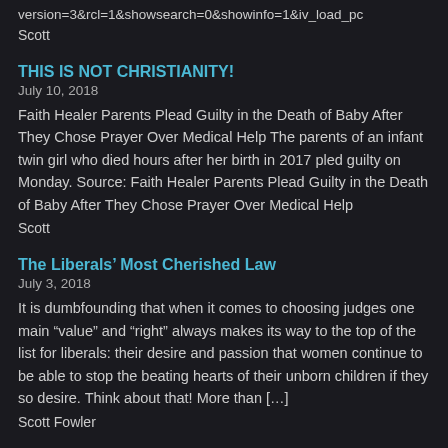version=3&rcl=1&showsearch=0&showinfo=1&iv_load_pc
Scott
THIS IS NOT CHRISTIANITY!
July 10, 2018
Faith Healer Parents Plead Guilty in the Death of Baby After They Chose Prayer Over Medical Help The parents of an infant twin girl who died hours after her birth in 2017 pled guilty on Monday. Source: Faith Healer Parents Plead Guilty in the Death of Baby After They Chose Prayer Over Medical Help
Scott
The Liberals’ Most Cherished Law
July 3, 2018
It is dumbfounding that when it comes to choosing judges one main “value” and “right” always makes its way to the top of the list for liberals: their desire and passion that women continue to be able to stop the beating hearts of their unborn children if they so desire. Think about that! More than […]
Scott Fowler
Nothing is Random
December 17, 2017